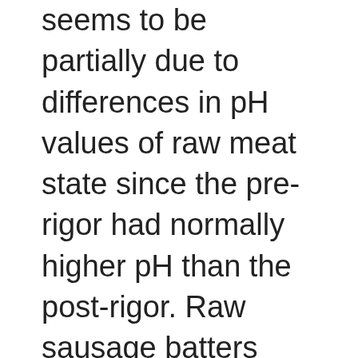seems to be partially due to differences in pH values of raw meat state since the pre-rigor had normally higher pH than the post-rigor. Raw sausage batters manufactured with pre-rigor muscle had higher pH than those manufactured with post-rigor muscle, which was similar to pH trend in